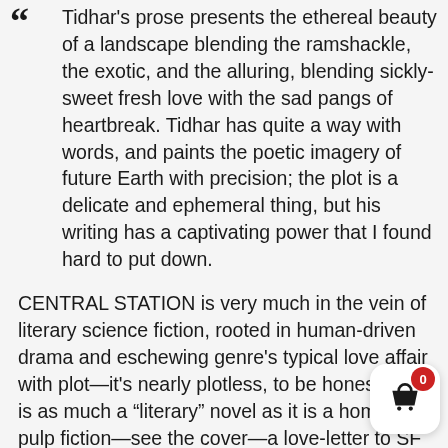Tidhar's prose presents the ethereal beauty of a landscape blending the ramshackle, the exotic, and the alluring, blending sickly-sweet fresh love with the sad pangs of heartbreak. Tidhar has quite a way with words, and paints the poetic imagery of future Earth with precision; the plot is a delicate and ephemeral thing, but his writing has a captivating power that I found hard to put down.
CENTRAL STATION is very much in the vein of literary science fiction, rooted in human-driven drama and eschewing genre's typical love affair with plot—it's nearly plotless, to be honest. But is as much a "literary" novel as it is a homage pulp fiction—see the cover—a love-letter to SF which has come before. There's a multitude of easter-eggs references scattered throughout these pages, a and